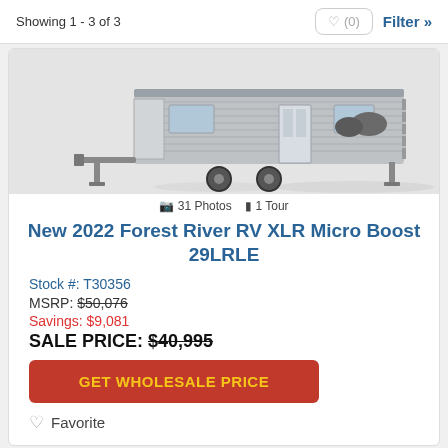Showing 1 - 3 of 3
[Figure (photo): Photo of a 2022 Forest River RV XLR Micro Boost 29LRLE travel trailer, silver/gray exterior with landing gear and steps visible]
31 Photos  1 Tour
New 2022 Forest River RV XLR Micro Boost 29LRLE
Stock #: T30356
MSRP: $50,076
Savings: $9,081
SALE PRICE: $40,995
GET WHOLESALE PRICE
Favorite
Wholesale RV Club is not responsible for any misprints, typos, or errors found in our website pages. Any price listed excludes